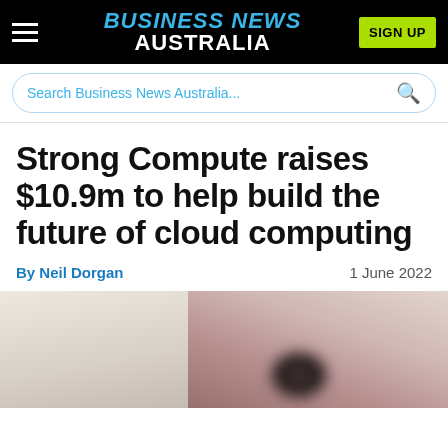BUSINESS NEWS AUSTRALIA
Search Business News Australia...
Strong Compute raises $10.9m to help build the future of cloud computing
By Neil Dorgan
1 June 2022
[Figure (photo): Blurred photo, article image for Strong Compute story, appears to show a blurred background scene with light and dark tones]